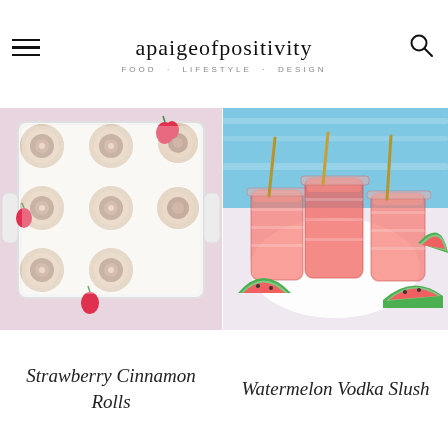apaigeofpositivity
FOOD . LIFESTYLE . DESIGN
[Figure (photo): Overhead view of strawberry cinnamon rolls in a white baking dish with cream cheese frosting and fresh strawberries, on a pink surface]
[Figure (photo): Three mason jars filled with pink watermelon vodka slush drinks with gold metallic straws, on a white marble surface near a pool, with watermelon slices]
Strawberry Cinnamon Rolls
Watermelon Vodka Slush